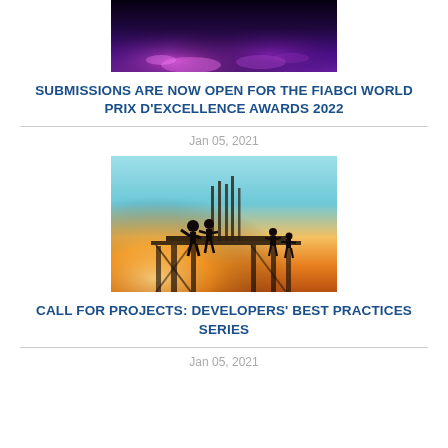[Figure (photo): Concert or event scene with purple/pink stage lighting and crowd, dark atmosphere]
SUBMISSIONS ARE NOW OPEN FOR THE FIABCI WORLD PRIX D'EXCELLENCE AWARDS 2022
Jan 05, 2021
[Figure (photo): Construction site silhouette with workers on scaffolding against sunset sky, orange and teal gradient background]
CALL FOR PROJECTS: DEVELOPERS' BEST PRACTICES SERIES
Jan 05, 2021